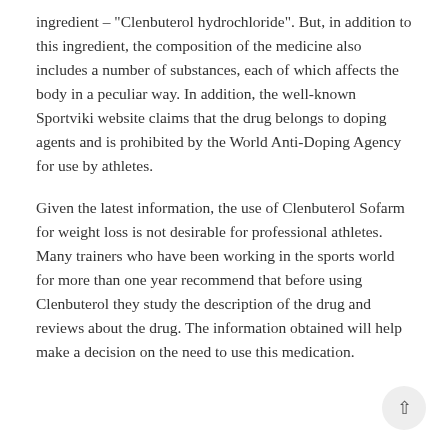ingredient – "Clenbuterol hydrochloride". But, in addition to this ingredient, the composition of the medicine also includes a number of substances, each of which affects the body in a peculiar way. In addition, the well-known Sportviki website claims that the drug belongs to doping agents and is prohibited by the World Anti-Doping Agency for use by athletes.
Given the latest information, the use of Clenbuterol Sofarm for weight loss is not desirable for professional athletes. Many trainers who have been working in the sports world for more than one year recommend that before using Clenbuterol they study the description of the drug and reviews about the drug. The information obtained will help make a decision on the need to use this medication.